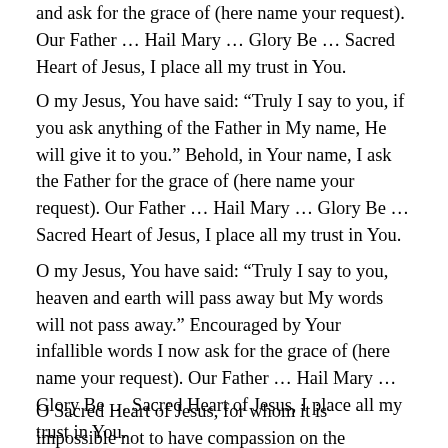and ask for the grace of (here name your request). Our Father … Hail Mary … Glory Be … Sacred Heart of Jesus, I place all my trust in You.
O my Jesus, You have said: “Truly I say to you, if you ask anything of the Father in My name, He will give it to you.” Behold, in Your name, I ask the Father for the grace of (here name your request). Our Father … Hail Mary … Glory Be … Sacred Heart of Jesus, I place all my trust in You.
O my Jesus, You have said: “Truly I say to you, heaven and earth will pass away but My words will not pass away.” Encouraged by Your infallible words I now ask for the grace of (here name your request). Our Father … Hail Mary … Glory Be … Sacred Heart of Jesus, I place all my trust in You.
O Sacred Heart of Jesus, for whom it is impossible not to have compassion on the afflicted, have pity